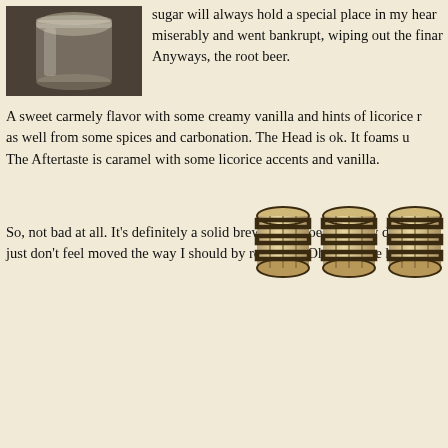[Figure (photo): A glass jar or bottle photographed from above or at an angle, appearing mostly empty/transparent against a dark background.]
sugar will always hold a special place in my heart... miserably and went bankrupt, wiping out the finan... Anyways, the root beer.
A sweet carmely flavor with some creamy vanilla and hints of licorice n... as well from some spices and carbonation. The Head is ok. It foams u... The Aftertaste is caramel with some licorice accents and vanilla.
So, not bad at all. It's definitely a solid brew, yet it doesn't really do an... just don't feel moved the way I should by root beer. Oh well. See how
[Figure (illustration): Three wooden barrel icons in a row, representing a rating system (3 out of possibly more barrels).]